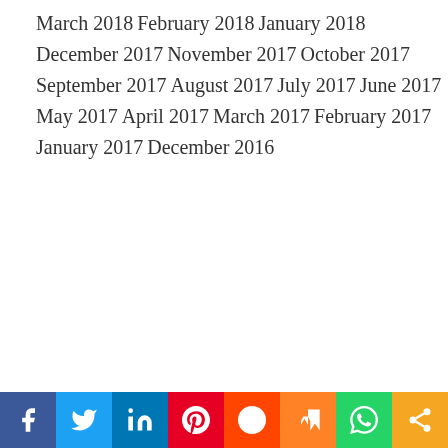March 2018
February 2018
January 2018
December 2017
November 2017
October 2017
September 2017
August 2017
July 2017
June 2017
May 2017
April 2017
March 2017
February 2017
January 2017
December 2016